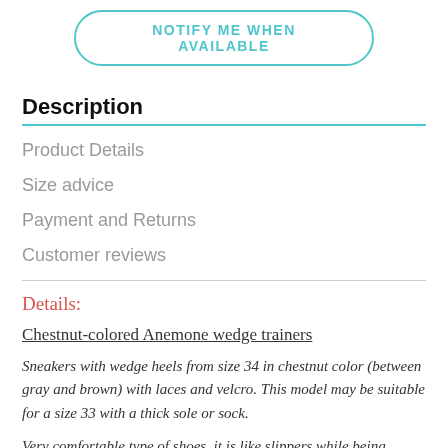[Figure (other): Teal-outlined rounded button with text NOTIFY ME WHEN AVAILABLE]
Description
Product Details
Size advice
Payment and Returns
Customer reviews
Details:
Chestnut-colored Anemone wedge trainers
Sneakers with wedge heels from size 34 in chestnut color (between gray and brown) with laces and velcro. This model may be suitable for a size 33 with a thick sole or sock.
Very comfortable type of shoes, it is like slippers while being